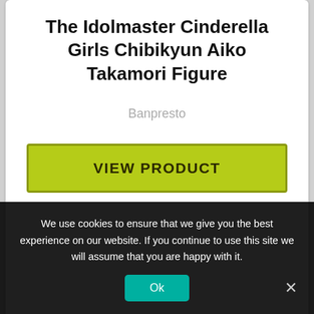The Idolmaster Cinderella Girls Chibikyun Aiko Takamori Figure
Banpresto
VIEW PRODUCT
[Figure (illustration): Small chibi anime figure with red hair holding an instrument, visible in the second product card]
We use cookies to ensure that we give you the best experience on our website. If you continue to use this site we will assume that you are happy with it.
Ok